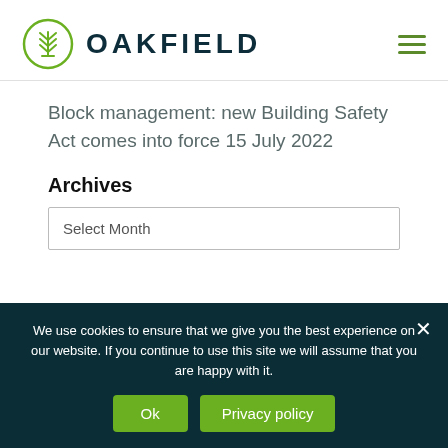OAKFIELD
Block management: new Building Safety Act comes into force 15 July 2022
Archives
Select Month
We use cookies to ensure that we give you the best experience on our website. If you continue to use this site we will assume that you are happy with it.